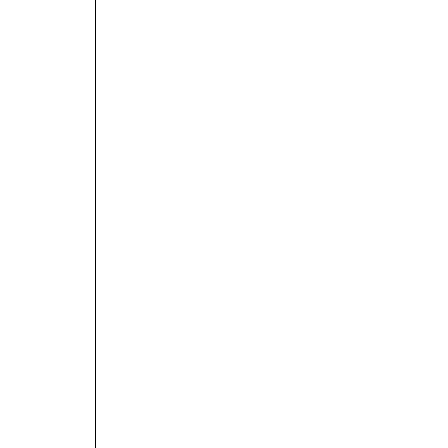ACT ONE
1. Overture - Orchestra
2. K-r-a-z-y for you - Bobby
3. I can't be bothered now - Bobby & Girls
4. Bidin' my Time - Moose & Men
5. Things are